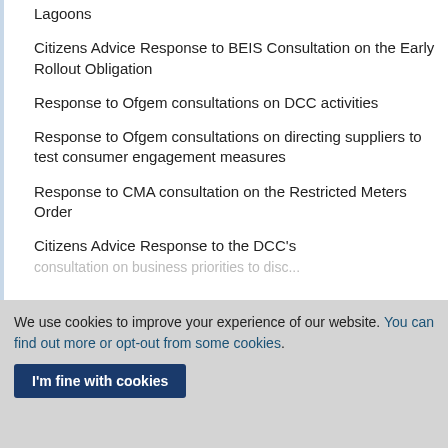Lagoons
Citizens Advice Response to BEIS Consultation on the Early Rollout Obligation
Response to Ofgem consultations on DCC activities
Response to Ofgem consultations on directing suppliers to test consumer engagement measures
Response to CMA consultation on the Restricted Meters Order
Citizens Advice Response to the DCC's
We use cookies to improve your experience of our website. You can find out more or opt-out from some cookies.